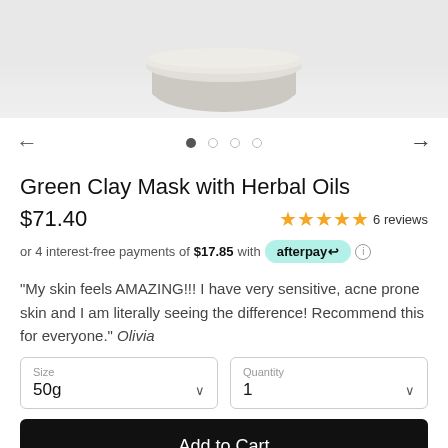[Figure (photo): Product photo of a round white/grey jar (Green Clay Mask) viewed from a slight angle showing lid, on light grey/white background]
Green Clay Mask with Herbal Oils
$71.40  ★★★★★ 6 reviews
or 4 interest-free payments of $17.85 with afterpay ℹ
"My skin feels AMAZING!!! I have very sensitive, acne prone skin and I am literally seeing the difference! Recommend this for everyone." Olivia
Size: 50g | Quantity: 1
Add to Cart
30 Day Money Back Guarantee